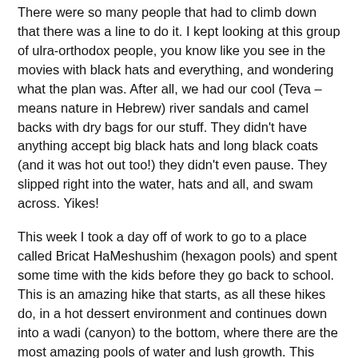There were so many people that had to climb down that there was a line to do it. I kept looking at this group of ulra-orthodox people, you know like you see in the movies with black hats and everything, and wondering what the plan was. After all, we had our cool (Teva – means nature in Hebrew) river sandals and camel backs with dry bags for our stuff. They didn't have anything accept big black hats and long black coats (and it was hot out too!) they didn't even pause. They slipped right into the water, hats and all, and swam across. Yikes!
This week I took a day off of work to go to a place called Bricat HaMeshushim (hexagon pools) and spent some time with the kids before they go back to school. This is an amazing hike that starts, as all these hikes do, in a hot dessert environment and continues down into a wadi (canyon) to the bottom, where there are the most amazing pools of water and lush growth. This particular hike takes you to a pool that was cut through a volcanic plug that had dried slowly, causing the magma to crystallize into tall hexagonal conjoined pillars. Many of you may be familiar with something similar in the States called Devils Post Pile.